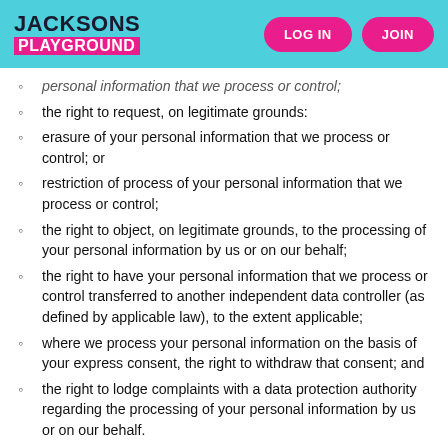JACKSONS PLAYGROUND | LOG IN | JOIN
personal information that we process or control;
the right to request, on legitimate grounds:
erasure of your personal information that we process or control; or
restriction of process of your personal information that we process or control;
the right to object, on legitimate grounds, to the processing of your personal information by us or on our behalf;
the right to have your personal information that we process or control transferred to another independent data controller (as defined by applicable law), to the extent applicable;
where we process your personal information on the basis of your express consent, the right to withdraw that consent; and
the right to lodge complaints with a data protection authority regarding the processing of your personal information by us or on our behalf.
This does not affect your statutory rights.
To exercise one or more of these rights, or to ask a question about